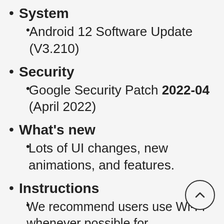System
Android 12 Software Update (V3.210)
Security
Google Security Patch 2022-04 (April 2022)
What's new
Lots of UI changes, new animations, and features.
Instructions
We recommend users use Wi-Fi whenever possible for downloading updates. If you want to use the mobile connection, please note that downloading data over a mobile network(including when roaming is enabled) can incur additional costs. Check with your